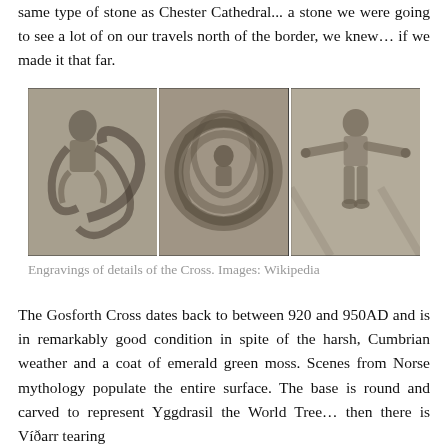same type of stone as Chester Cathedral... a stone we were going to see a lot of on our travels north of the border, we knew… if we made it that far.
[Figure (photo): Three black and white engravings showing details of the Gosforth Cross. Left: a figure wrestling with a serpent. Centre: intricate knotwork with a figure. Right: a standing figure with arms outstretched holding objects.]
Engravings of details of the Cross. Images: Wikipedia
The Gosforth Cross dates back to between 920 and 950AD and is in remarkably good condition in spite of the harsh, Cumbrian weather and a coat of emerald green moss. Scenes from Norse mythology populate the entire surface. The base is round and carved to represent Yggdrasil the World Tree… then there is Víðarr tearing